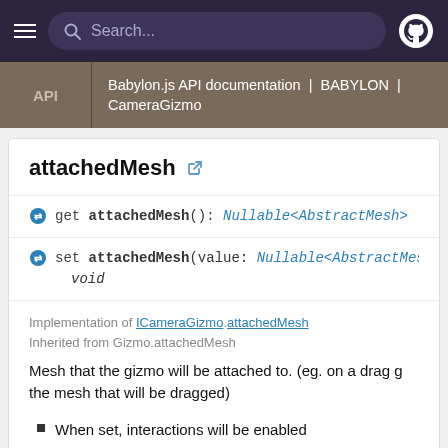Search... [navigation bar with hamburger menu and GitHub icon]
API | Babylon.js API documentation | BABYLON | CameraGizmo
attachedMesh
get attachedMesh(): Nullable<AbstractMesh>
set attachedMesh(value: Nullable<AbstractMesh>): void
Implementation of ICameraGizmo.attachedMesh
Inherited from Gizmo.attachedMesh
Mesh that the gizmo will be attached to. (eg. on a drag g the mesh that will be dragged)
When set, interactions will be enabled